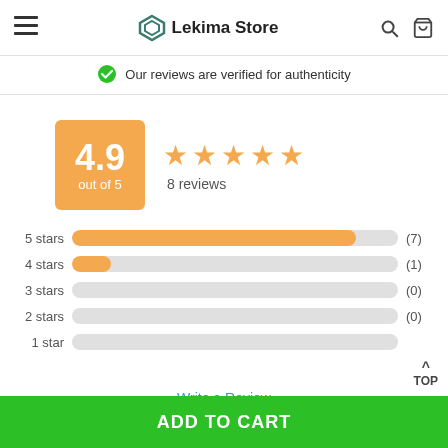Lekima Store
Our reviews are verified for authenticity
[Figure (infographic): Rating score box showing 4.9 out of 5 with 5 orange stars and 8 reviews]
[Figure (bar-chart): Star rating distribution]
Write a Review
ADD TO CART